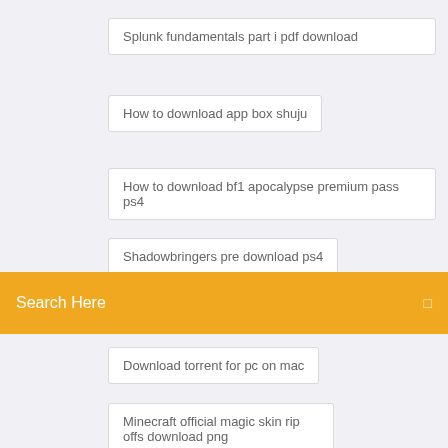Splunk fundamentals part i pdf download
How to download app box shuju
How to download bf1 apocalypse premium pass ps4
Shadowbringers pre download ps4
Search Here
Download torrent for pc on mac
Minecraft official magic skin rip offs download png
Newsletter